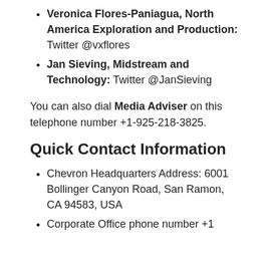Veronica Flores-Paniagua, North America Exploration and Production: Twitter @vxflores
Jan Sieving, Midstream and Technology: Twitter @JanSieving
You can also dial Media Adviser on this telephone number +1-925-218-3825.
Quick Contact Information
Chevron Headquarters Address: 6001 Bollinger Canyon Road, San Ramon, CA 94583, USA
Corporate Office phone number +1